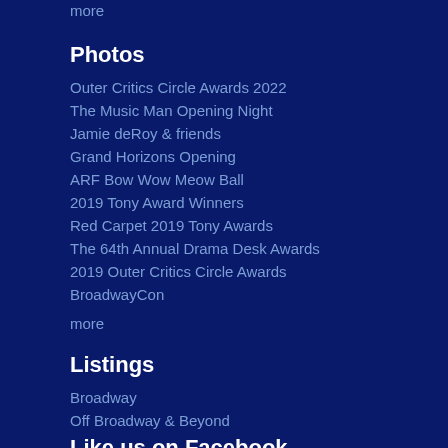more
Photos
Outer Critics Circle Awards 2022
The Music Man Opening Night
Jamie deRoy & friends
Grand Horizons Opening
ARF Bow Wow Meow Ball
2019 Tony Award Winners
Red Carpet 2019 Tony Awards
The 64th Annual Drama Desk Awards
2019 Outer Critics Circle Awards
BroadwayCon
more
Listings
Broadway
Off Broadway & Beyond
Cabaret & Nightlife
The Hamptons
Archives
Broadway Theater Information
Like us on Facebook